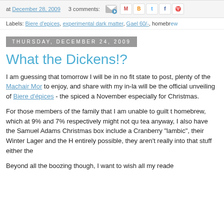at December 28, 2009   3 comments:   [icons]
Labels: Biere d'epices, experimental dark matter, Gael 60/-, homebrew
Thursday, December 24, 2009
What the Dickens!?
I am guessing that tomorrow I will be in no fit state to post, plenty of the Machair Mor to enjoy, and share with my in-la will be the official unveiling of Biere d'épices - the spiced a November especially for Christmas.
For those members of the family that I am unable to guilt t homebrew, which at 9% and 7% respectively might not qu tea anyway, I also have the Samuel Adams Christmas box include a Cranberry "lambic", their Winter Lager and the H entirely possible, they aren't really into that stuff either the
Beyond all the boozing though, I want to wish all my reade